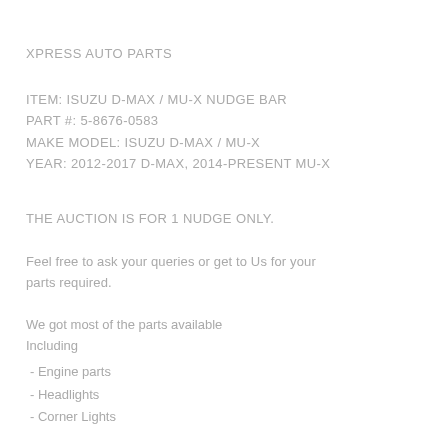XPRESS AUTO PARTS
ITEM: ISUZU D-MAX / MU-X NUDGE BAR
PART #: 5-8676-0583
MAKE MODEL: ISUZU D-MAX / MU-X
YEAR: 2012-2017 D-MAX, 2014-PRESENT MU-X
THE AUCTION IS FOR 1 NUDGE ONLY.
Feel free to ask your queries or get to Us for your parts required.
We got most of the parts available
Including
- Engine parts
- Headlights
- Corner Lights